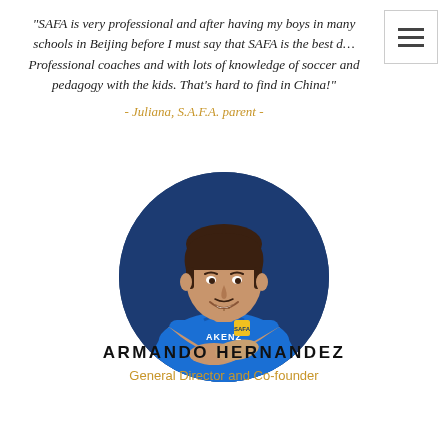"SAFA is very professional and after having my boys in many schools in Beijing before I must say that SAFA is the best d… Professional coaches and with lots of knowledge of soccer and pedagogy with the kids. That's hard to find in China!"
- Juliana, S.A.F.A. parent -
[Figure (photo): Circular portrait photo of Armando Hernandez, a young man smiling, wearing a blue SAFA soccer jersey with arms crossed, against a dark blue background.]
ARMANDO HERNANDEZ
General Director and Co-founder